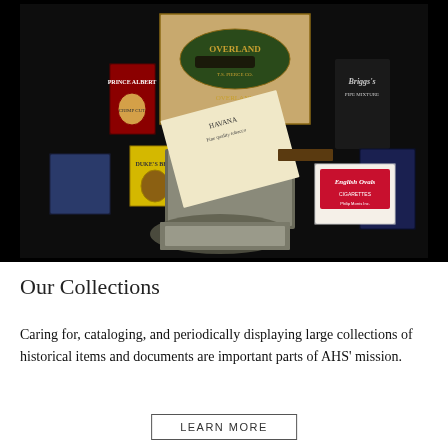[Figure (photo): Photograph of an assortment of vintage tobacco tins, boxes, and packaging items including Overland cigar box, Prince Albert, Duke's, Briggs, English Ovals, and an open tin with a paper insert, arranged on a dark background.]
Our Collections
Caring for, cataloging, and periodically displaying large collections of historical items and documents are important parts of AHS' mission.
LEARN MORE